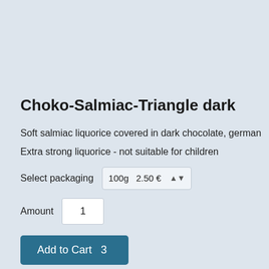Choko-Salmiac-Triangle dark
Soft salmiac liquorice covered in dark chocolate, german
Extra strong liquorice - not suitable for children
Select packaging  100g  2.50 €
Amount  1
Add to Cart  3